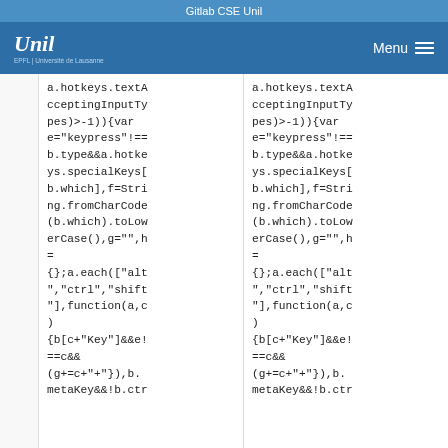Gitlab CSE Unil
[Figure (logo): UNIL university logo with stylized handwritten text and subtitle 'EPFL | Université de Lausanne']
a.hotkeys.textAcceptingInputTypes)>-1)){var e="keypress"!==b.type&&a.hotkeys.specialKeys[b.which],f=String.fromCharCode(b.which).toLowerCase(),g="",h=
{}; a.each(["alt","ctrl","shift"],function(a,c)
{b[c+"Key"]&&e!==c&&(g+=c+"+")}),b.metaKey&&!b.ctr
a.hotkeys.textAcceptingInputTypes)>-1)){var e="keypress"!==b.type&&a.hotkeys.specialKeys[b.which],f=String.fromCharCode(b.which).toLowerCase(),g="",h=
{}; a.each(["alt","ctrl","shift"],function(a,c)
{b[c+"Key"]&&e!==c&&(g+=c+"+")}),b.metaKey&&!b.ctr